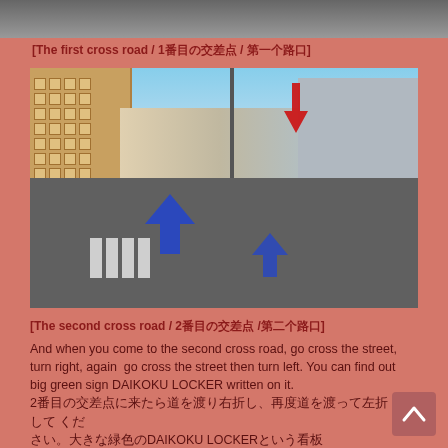[Figure (photo): Top strip of a street/road photo partially visible at the top of the page]
[The first cross road / 1番目の交差点 / 第一个路口]
[Figure (photo): Street-level photo of a Japanese urban intersection with blue directional arrows and a red arrow pointing to a building]
[The second cross road / 2番目の交差点 / 第二个路口]
And when you come to the second cross road, go cross the street, turn right, again go cross the street then turn left. You can find out big green sign DAIKOKU LOCKER written on it. 2番目の交差点に来たら道を渡り右折し、再度道を渡って左折してください。大きな緑色のDAIKOKU LOCKERという看板が見えてきます。